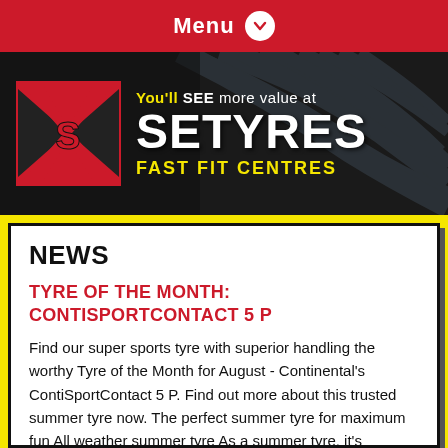Menu
[Figure (logo): Setyres Fast Fit Centres banner with logo — red X-shaped logo with S letter, text: You'll SEE more value at SETYRES FAST FIT CENTRES, dark background with tyre texture]
NEWS
TYRE OF THE MONTH: CONTISPORTCONTACT 5 P
Find our super sports tyre with superior handling the worthy Tyre of the Month for August - Continental's ContiSportContact 5 P. Find out more about this trusted summer tyre now. The perfect summer tyre for maximum fun All weather summer tyre As a summer tyre, it's important to be able to perform just as well on dry roads